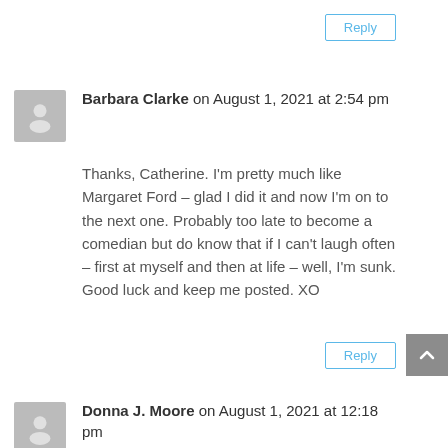Reply
Barbara Clarke on August 1, 2021 at 2:54 pm
Thanks, Catherine. I'm pretty much like Margaret Ford – glad I did it and now I'm on to the next one. Probably too late to become a comedian but do know that if I can't laugh often – first at myself and then at life – well, I'm sunk. Good luck and keep me posted. XO
Reply
Donna J. Moore on August 1, 2021 at 12:18 pm